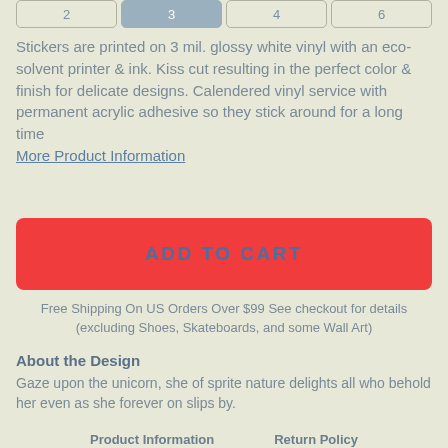[Figure (other): Size selector buttons row showing options 2, 3 (selected/active), 4, 6]
Stickers are printed on 3 mil. glossy white vinyl with an eco-solvent printer & ink. Kiss cut resulting in the perfect color & finish for delicate designs. Calendered vinyl service with permanent acrylic adhesive so they stick around for a long time
More Product Information
ADD TO CART
Free Shipping On US Orders Over $99 See checkout for details (excluding Shoes, Skateboards, and some Wall Art)
About the Design
Gaze upon the unicorn, she of sprite nature delights all who behold her even as she forever on slips by.
Product Information   Return Policy
[Figure (other): Social media icons row: Facebook, Tumblr, Twitter, Pinterest, Email]